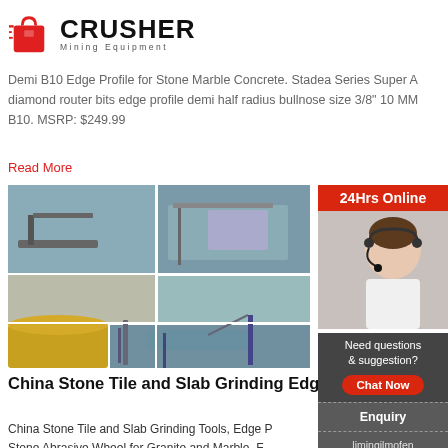[Figure (logo): Crusher Mining Equipment logo with red shopping bag icon and bold text]
Demi B10 Edge Profile for Stone Marble Concrete. Stadea Series Super A diamond router bits edge profile demi half radius bullnose size 3/8" 10 MM B10. MSRP: $249.99
Read More
[Figure (photo): Collage of stone and slab grinding/processing machinery images]
China Stone Tile and Slab Grinding Edge Processing ...
China Stone Tile and Slab Grinding Tools, Edge Processing Stone Abrasive Wheel for Granite and Marble, Find details about China Diamond Router Bit, Router Bit from Stone Tile and Slab Grinding Tools, Edge Processing Stone Abrasive Wheel for Granite and Marble - Fujian Wanlong Diamond Machinery and Tool Co., Ltd.
[Figure (photo): 24Hrs Online customer service representative with headset, sidebar with Chat Now button, Enquiry, and limingjlmofen@sina.com contact]